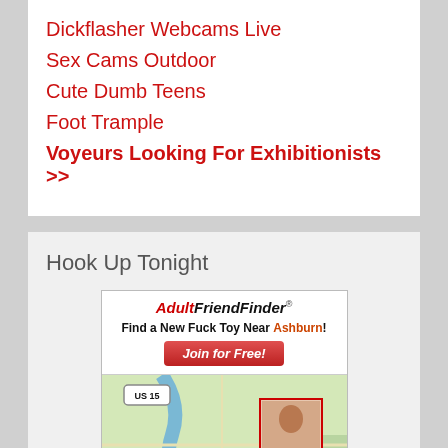Dickflasher Webcams Live
Sex Cams Outdoor
Cute Dumb Teens
Foot Trample
Voyeurs Looking For Exhibitionists >>
Hook Up Tonight
[Figure (screenshot): AdultFriendFinder advertisement with map showing Ashburn location, featuring a Join for Free button and a map with user profile photos pinned to Leesburg/Ashburn Virginia area (US 15, VA 7, VA 267 roads visible).]